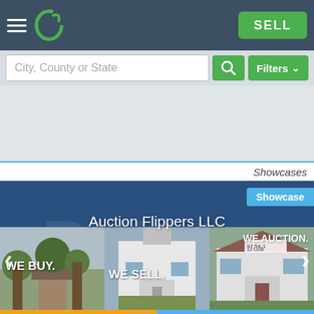[Figure (screenshot): Mobile real estate app interface showing navigation bar with hamburger menu, logo, and SELL button]
City, County or State
Filters
Showcases
Showcase
Auction Flippers LLC
WE BUY.
WE SELL.
WE AUCTION.
CALL SELLER
ASK A QUESTION